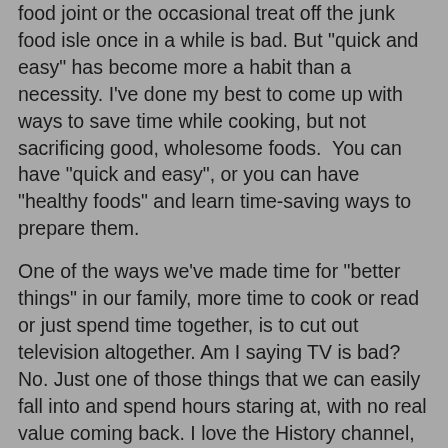food joint or the occasional treat off the junk food isle once in a while is bad. But "quick and easy" has become more a habit than a necessity. I've done my best to come up with ways to save time while cooking, but not sacrificing good, wholesome foods.  You can have "quick and easy", or you can have "healthy foods" and learn time-saving ways to prepare them.
One of the ways we've made time for "better things" in our family, more time to cook or read or just spend time together, is to cut out television altogether. Am I saying TV is bad? No. Just one of those things that we can easily fall into and spend hours staring at, with no real value coming back. I love the History channel, and Animal Planet, and various other shows like Doctor Who. However, I've had to make choices - what is best for the family in regards to our budget (have you seen the cost of cable/satellite lately?) and mental/physical health of our family. Such as, I love to work out. It keeps me walking without a cane. Do I have time to work out? No, I make time. I budget my time as strictly as I do my finances. Because my health is important.  Even just cutting back can give us hours to do other things. We have